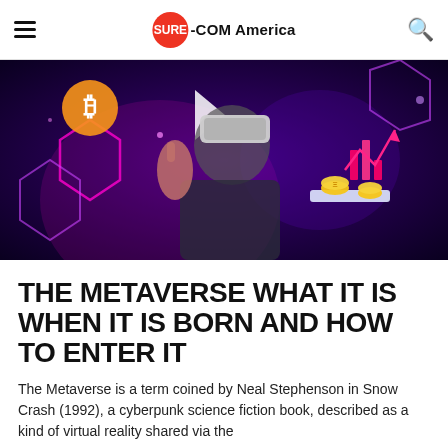SURE-COM America
[Figure (photo): Person wearing a VR headset with glowing neon hexagonal shapes, a Bitcoin coin, and crypto/finance icons floating around them in a dark purple lit scene.]
THE METAVERSE WHAT IT IS WHEN IT IS BORN AND HOW TO ENTER IT
The Metaverse is a term coined by Neal Stephenson in Snow Crash (1992), a cyberpunk science fiction book, described as a kind of virtual reality shared via the